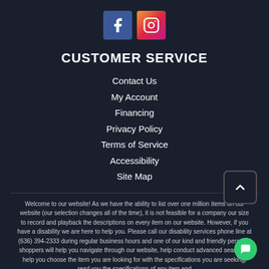[Figure (logo): Facebook and Instagram social media icons]
CUSTOMER SERVICE
Contact Us
My Account
Financing
Privacy Policy
Terms of Service
Accessibility
Site Map
Welcome to our website! As we have the ability to list over one million items on our website (our selection changes all of the time), it is not feasible for a company our size to record and playback the descriptions on every item on our website. However, if you have a disability we are here to help you. Please call our disability services phone line at (636) 394-2333 during regular business hours and one of our kind and friendly personal shoppers will help you navigate through our website, help conduct advanced searches, help you choose the item you are looking for with the specifications you are seeking, read you the specifications of any item and